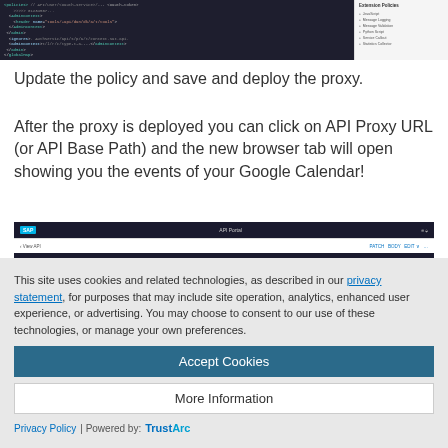[Figure (screenshot): Screenshot of SAP API Portal code editor with XML policy code visible on left and Extension Policies sidebar on right showing JavaScript, Message Logging, Message Validation, Python Script, Service Callout, Statistics Collector options]
Update the policy and save and deploy the proxy.
After the proxy is deployed you can click on API Proxy URL (or API Base Path) and the new browser tab will open showing you the events of your Google Calendar!
[Figure (screenshot): Screenshot of SAP API Portal browser interface showing the top navigation bar with SAP logo, API Portal title, and View API option with PATCH, BODY, EDIT controls]
This site uses cookies and related technologies, as described in our privacy statement, for purposes that may include site operation, analytics, enhanced user experience, or advertising. You may choose to consent to our use of these technologies, or manage your own preferences.
Accept Cookies
More Information
Privacy Policy | Powered by: TrustArc